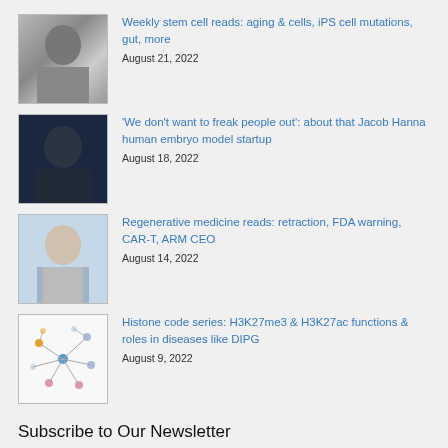Weekly stem cell reads: aging & cells, iPS cell mutations, gut, more — August 21, 2022
'We don't want to freak people out': about that Jacob Hanna human embryo model startup — August 18, 2022
Regenerative medicine reads: retraction, FDA warning, CAR-T, ARM CEO — August 14, 2022
Histone code series: H3K27me3 & H3K27ac functions & roles in diseases like DIPG — August 9, 2022
Subscribe to Our Newsletter